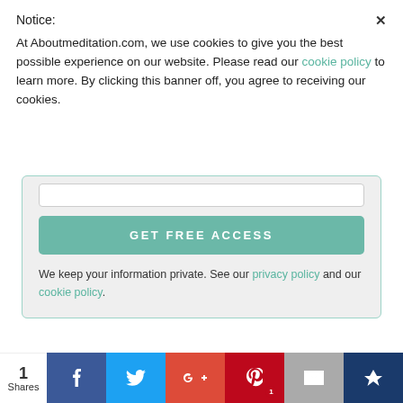Notice:
At Aboutmeditation.com, we use cookies to give you the best possible experience on our website. Please read our cookie policy to learn more. By clicking this banner off, you agree to receiving our cookies.
[Figure (screenshot): GET FREE ACCESS button (teal/green) inside a light grey rounded box with a white input bar above and privacy policy text below]
We keep your information private. See our privacy policy and our cookie policy.
[Figure (screenshot): Search bar with magnifying glass icon and 'Search this website' placeholder text]
Search this website
1 Shares | Facebook | Twitter | Google+ | Pinterest | Email | Crown